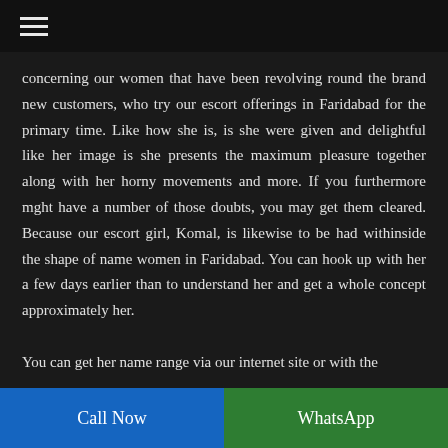☰
concerning our women that have been revolving round the brand new customers, who try our escort offerings in Faridabad for the primary time. Like how she is, is she were given and delightful like her image is she presents the maximum pleasure together along with her horny movements and more. If you furthermore mght have a number of those doubts, you may get them cleared. Because our escort girl, Komal, is likewise to be had withinside the shape of name women in Faridabad. You can hook up with her a few days earlier than to understand her and get a whole concept approximately her.

You can get her name range via our internet site or with the
Call Now | WhatsApp